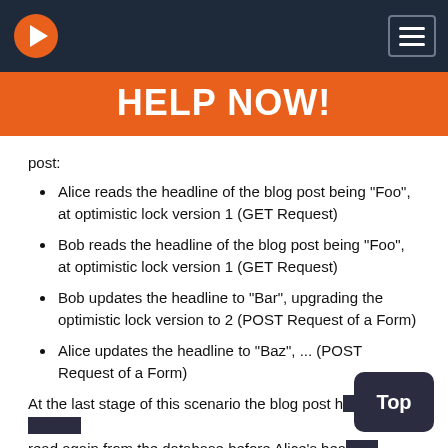HELP NOW!
post:
Alice reads the headline of the blog post being "Foo", at optimistic lock version 1 (GET Request)
Bob reads the headline of the blog post being "Foo", at optimistic lock version 1 (GET Request)
Bob updates the headline to "Bar", upgrading the optimistic lock version to 2 (POST Request of a Form)
Alice updates the headline to "Baz", ... (POST Request of a Form)
At the last stage of this scenario the blog post h... read again from the database before Alice's hea... can be applied. At this point you will want to che... blog post is still at version 1 (which it is not in this...